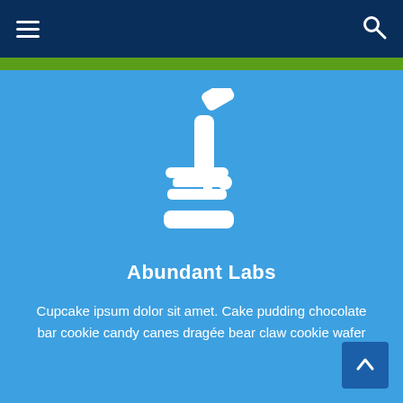Navigation bar with hamburger menu and search icon
[Figure (illustration): White microscope icon on blue background]
Abundant Labs
Cupcake ipsum dolor sit amet. Cake pudding chocolate bar cookie candy canes dragée bear claw cookie wafer